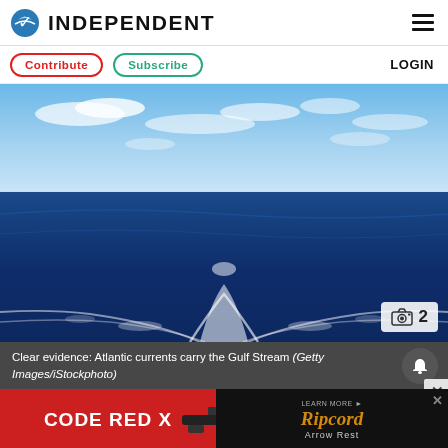INDEPENDENT
Contribute  Subscribe  LOGIN
[Figure (photo): Ocean view showing Atlantic currents and ship wake cutting through deep blue water under partly cloudy sky. Camera icon with number 2 badge in bottom right corner.]
Clear evidence: Atlantic currents carry the Gulf Stream (Getty Images/iStockphoto)
[Figure (other): Advertisement banner: CODE RED X on red background left side; Ripcord Arrow Rest on dark background right side with LEARN MORE badge and close X button.]